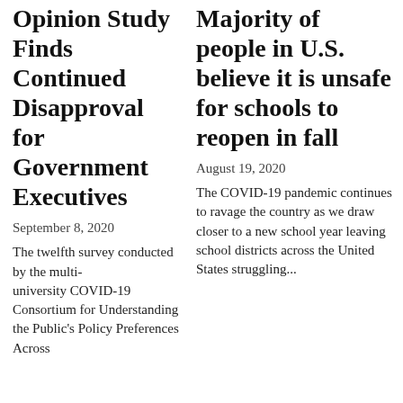Opinion Study Finds Continued Disapproval for Government Executives
September 8, 2020
The twelfth survey conducted by the multi-university COVID-19 Consortium for Understanding the Public's Policy Preferences Across
Majority of people in U.S. believe it is unsafe for schools to reopen in fall
August 19, 2020
The COVID-19 pandemic continues to ravage the country as we draw closer to a new school year leaving school districts across the United States struggling...